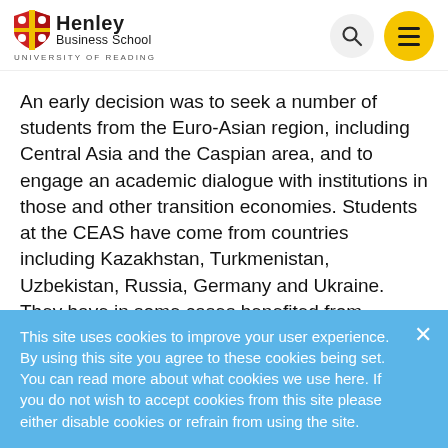[Figure (logo): Henley Business School, University of Reading logo with shield emblem]
An early decision was to seek a number of students from the Euro-Asian region, including Central Asia and the Caspian area, and to engage an academic dialogue with institutions in those and other transition economies. Students at the CEAS have come from countries including Kazakhstan, Turkmenistan, Uzbekistan, Russia, Germany and Ukraine. They have in some cases benefited from sponsoring that the centre has put in place on a country basis.
This site uses cookies to improve your user experience. By using this site you agree to these cookies being set. You can read more about what cookies we use here. If you do not wish to accept cookies from this site please either disable cookies or refrain from using the site.